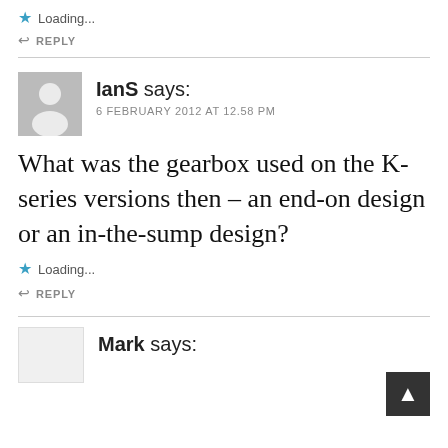Loading...
↩ REPLY
IanS says:
6 FEBRUARY 2012 AT 12.58 PM
What was the gearbox used on the K-series versions then – an end-on design or an in-the-sump design?
Loading...
↩ REPLY
Mark says: